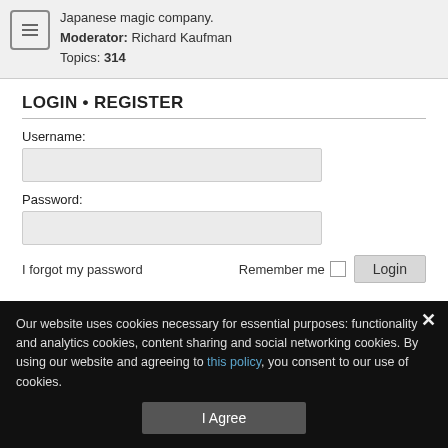Japanese magic company.
Moderator: Richard Kaufman
Topics: 314
LOGIN • REGISTER
Username:
Password:
I forgot my password
Remember me
STATISTICS
Our website uses cookies necessary for essential purposes: functionality and analytics cookies, content sharing and social networking cookies. By using our website and agreeing to this policy, you consent to our use of cookies.
I Agree